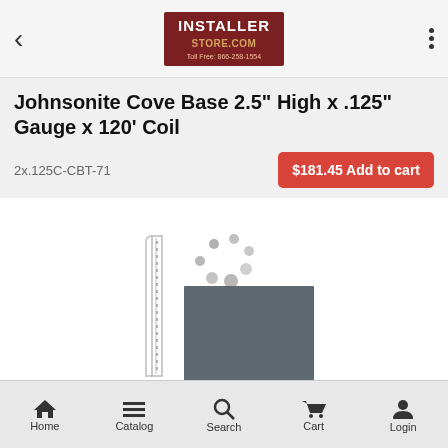< InstallerStore.com Toll Free: 866-258-1554 :::
Johnsonite Cove Base 2.5" High x .125" Gauge x 120' Coil
2x.125C-CBT-71
$181.45 Add to cart
[Figure (photo): Product image showing a cove base profile strip and a gray color swatch labeled '71 STORM CLOUD', with a loading spinner graphic]
More Images
Home    Catalog    Search    Cart    Login